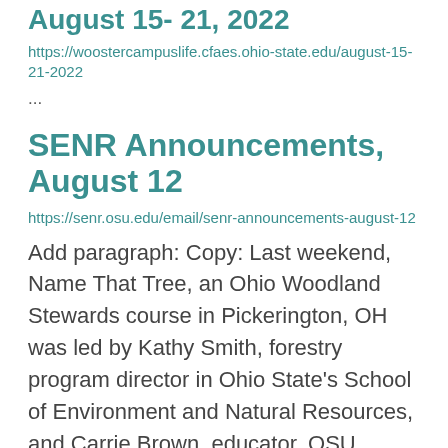August 15- 21, 2022
https://woostercampuslife.cfaes.ohio-state.edu/august-15-21-2022
...
SENR Announcements, August 12
https://senr.osu.edu/email/senr-announcements-august-12
Add paragraph:  Copy:  Last weekend, Name That Tree, an Ohio Woodland Stewards course in Pickerington, OH was led by Kathy Smith, forestry program director in Ohio State’s School of Environment and Natural Resources, and Carrie Brown, educator, OSU Extens ...